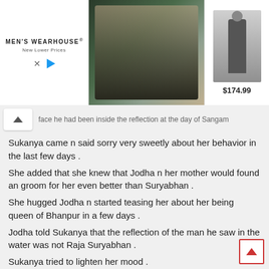[Figure (advertisement): Men's Wearhouse advertisement banner with couple photo and suit image priced at $174.99]
...face he had been inside the reflection at the day of Sangam
Sukanya came n said sorry very sweetly about her behavior in the last few days .
She added that she knew that Jodha n her mother would found an groom for her even better than Suryabhan .
She hugged Jodha n started teasing her about her being queen of Bhanpur in a few days .
Jodha told Sukanya that the reflection of the man he saw in the water was not Raja Suryabhan .
Sukanya tried to lighten her mood .
Scene shifted ' Jalal sitting on a sweetshop . The owner of the place seemed to be a pretty brainless guy'during their conversation Jalal quite efficiently found out where's the Amer Jail .